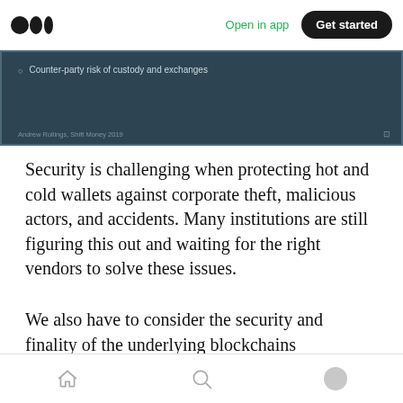Open in app | Get started
[Figure (screenshot): Dark teal presentation slide showing bullet point: 'Counter-party risk of custody and exchanges'. Footer text reads 'Andrew Rollings, Shift Money 2019'.]
Security is challenging when protecting hot and cold wallets against corporate theft, malicious actors, and accidents. Many institutions are still figuring this out and waiting for the right vendors to solve these issues.
We also have to consider the security and finality of the underlying blockchains themselves in terms of things like replay attacks. To dig deeper
Home | Search | Profile